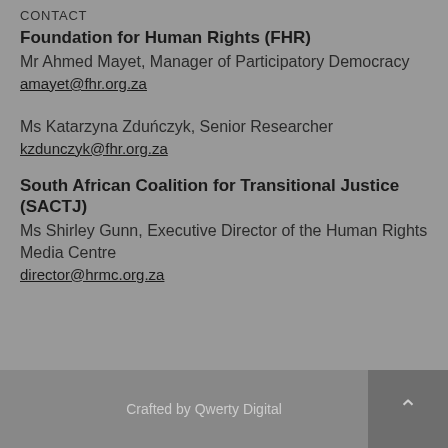CONTACT
Foundation for Human Rights (FHR)
Mr Ahmed Mayet, Manager of Participatory Democracy
amayet@fhr.org.za

Ms Katarzyna Zduńczyk, Senior Researcher
kzdunczyk@fhr.org.za
South African Coalition for Transitional Justice (SACTJ)
Ms Shirley Gunn, Executive Director of the Human Rights Media Centre
director@hrmc.org.za
Crafted by Qwerty Digital